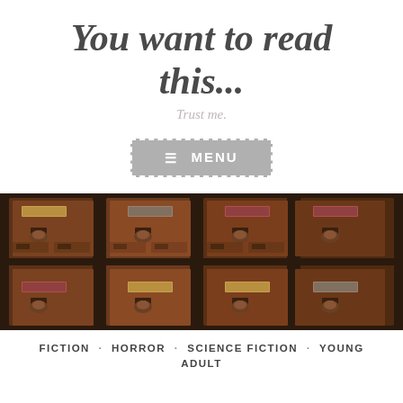You want to read this...
Trust me.
≡ MENU
[Figure (photo): Vintage wooden card catalog drawers with brass hardware and label holders arranged in a grid pattern]
FICTION · HORROR · SCIENCE FICTION · YOUNG ADULT